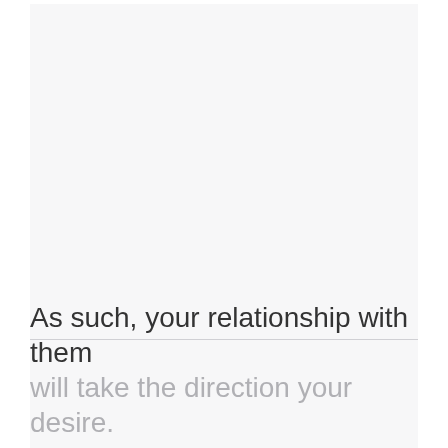As such, your relationship with them will take the direction your desire.